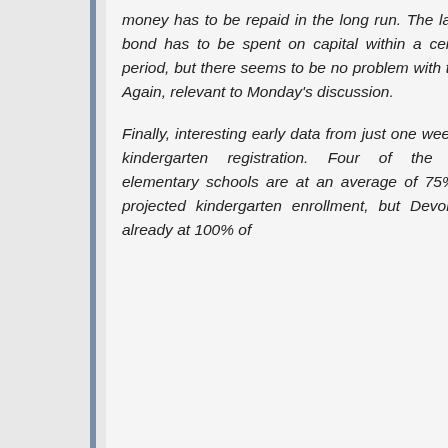money has to be repaid in the long run. The latest bond has to be spent on capital within a certain period, but there seems to be no problem with that! Again, relevant to Monday's discussion.
Finally, interesting early data from just one week of kindergarten registration. Four of the five elementary schools are at an average of 75% of projected kindergarten enrollment, but Devon is already at 100% of